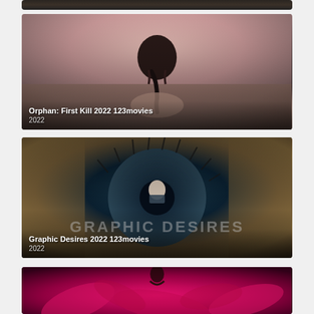[Figure (screenshot): Partial top strip of a dark movie/video thumbnail card]
[Figure (screenshot): Movie thumbnail for 'Orphan: First Kill 2022 123movies' — a figure with braided hair seen from behind against a pinkish background, with text overlay at bottom: 'Orphan: First Kill 2022 123movies' and '2022']
[Figure (screenshot): Movie thumbnail for 'Graphic Desires 2022 123movies' — a woman in a dark circular eye-like composition, with text overlay: 'Graphic Desires 2022 123movies' and '2022', large 'GRAPHIC DESIRES' watermark text]
[Figure (screenshot): Partially visible bottom thumbnail with a vivid magenta/pink background, showing the top of a figure against bright pink floral or petal-like background]